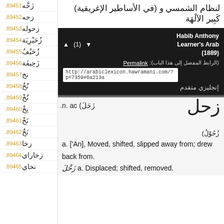89451 زَحَّه
89452 زحه
89453 زحوله
89454 زُحَيْرِيَة
89455 زُحَيْفٌ
89456 زَحِيفَة
89457 نخ
89458 نُخٌ
89459 نُخْ
89460 نِخْ
89461 نَخْ
89462 نَخٌ
89463 زخا
89464 زخاراي
89465
لنظام الشمسي و (في الأساطير الإغريقية) كبير الآلهة
▲ (1) ▼   Habib Anthony Learner's Arabic (1889)
:(الرابط المفضل إلى هذا الباب) Permalink
http://arabiclexicon.hawramani.com/?p=7359#6a213a
إنجليزي متقدم
زحل
زَحَلَ (n. ac.
زُحُوْلُ)
a. ['An], Moved, shifted, slipped away from; drew back from.
زَحَّلَ a. Displaced; shifted, removed.